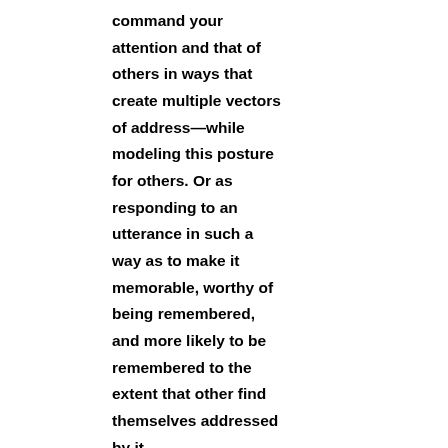command your attention and that of others in ways that create multiple vectors of address—while modeling this posture for others. Or as responding to an utterance in such a way as to make it memorable, worthy of being remembered, and more likely to be remembered to the extent that other find themselves addressed by it.